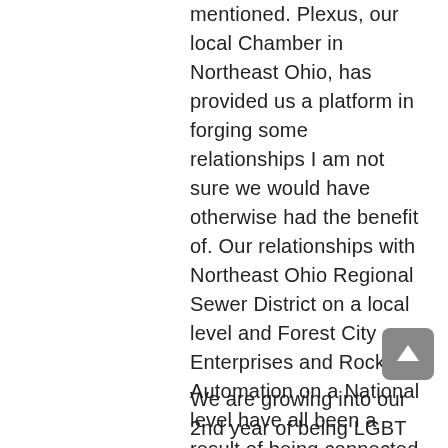mentioned. Plexus, our local Chamber in Northeast Ohio, has provided us a platform in forging some relationships I am not sure we would have otherwise had the benefit of. Our relationships with Northeast Ohio Regional Sewer District on a local level and Forest City Enterprises and Rockwell Automation on a National level have all been a result of being connected with our Chamber.
We are growing into our 2nd year of being LGBT Certified